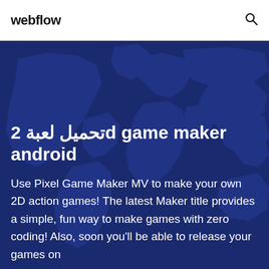webflow
تحميل لعبة 2d game maker android
Use Pixel Game Maker MV to make your own 2D action games! The latest Maker title provides a simple, fun way to make games with zero coding! Also, soon you'll be able to release your games on